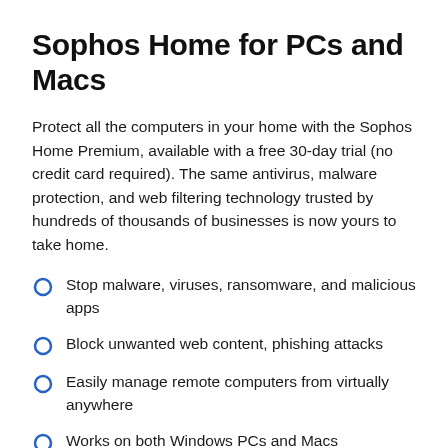Sophos Home for PCs and Macs
Protect all the computers in your home with the Sophos Home Premium, available with a free 30-day trial (no credit card required). The same antivirus, malware protection, and web filtering technology trusted by hundreds of thousands of businesses is now yours to take home.
Stop malware, viruses, ransomware, and malicious apps
Block unwanted web content, phishing attacks
Easily manage remote computers from virtually anywhere
Works on both Windows PCs and Macs